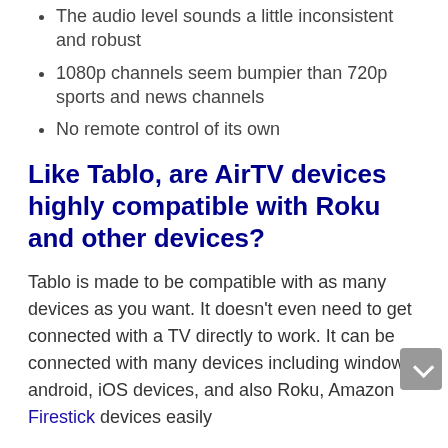The audio level sounds a little inconsistent and robust
1080p channels seem bumpier than 720p sports and news channels
No remote control of its own
Like Tablo, are AirTV devices highly compatible with Roku and other devices?
Tablo is made to be compatible with as many devices as you want. It doesn’t even need to get connected with a TV directly to work. It can be connected with many devices including windows, android, iOS devices, and also Roku, Amazon Firestick devices easily